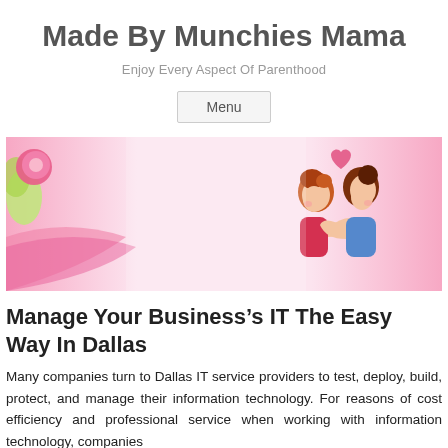Made By Munchies Mama
Enjoy Every Aspect Of Parenthood
Menu
[Figure (illustration): Decorative banner image with pink background showing two cartoon women hugging, with a floral element on the left and a pink heart above them on the right.]
Manage Your Business’s IT The Easy Way In Dallas
Many companies turn to Dallas IT service providers to test, deploy, build, protect, and manage their information technology. For reasons of cost efficiency and professional service when working with information technology, companies